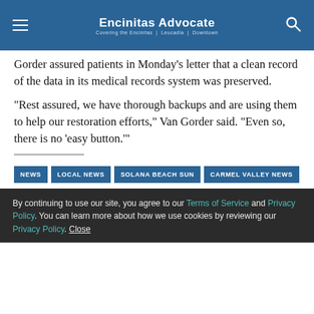Encinitas Advocate
Gorder assured patients in Monday’s letter that a clean record of the data in its medical records system was preserved.
“Rest assured, we have thorough backups and are using them to help our restoration efforts,” Van Gorder said. “Even so, there is no ‘easy button.’”
NEWS | LOCAL NEWS | SOLANA BEACH SUN | CARMEL VALLEY NEWS
By continuing to use our site, you agree to our Terms of Service and Privacy Policy. You can learn more about how we use cookies by reviewing our Privacy Policy. Close